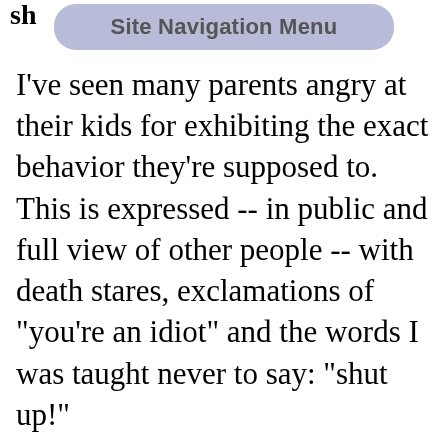sh
[Figure (screenshot): Site Navigation Menu button - a rounded pill-shaped button with light purple/blue background and bold gray text reading 'Site Navigation Menu']
I've seen many parents angry at their kids for exhibiting the exact behavior they're supposed to. This is expressed -- in public and full view of other people -- with death stares, exclamations of "you're an idiot" and the words I was taught never to say: "shut up!"